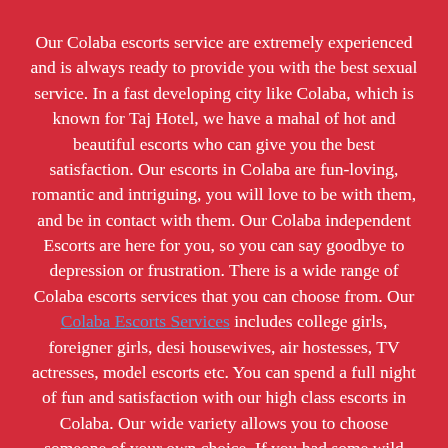Our Colaba escorts service are extremely experienced and is always ready to provide you with the best sexual service. In a fast developing city like Colaba, which is known for Taj Hotel, we have a mahal of hot and beautiful escorts who can give you the best satisfaction. Our escorts in Colaba are fun-loving, romantic and intriguing, you will love to be with them, and be in contact with them. Our Colaba independent Escorts are here for you, so you can say goodbye to depression or frustration. There is a wide range of Colaba escorts services that you can choose from. Our Colaba Escorts Services includes college girls, foreigner girls, desi housewives, air hostesses, TV actresses, model escorts etc. You can spend a full night of fun and satisfaction with our high class escorts in Colaba. Our wide variety allows you to choose someone of your own choice. If you had some wild fantasy of spending a hot and sexy time with a model, or TV actress that you have only seen on the big screen, you can fulfill your wish here. It is time for you to spend a hot and adventurous sexual time with our high class Escorts In Colaba. For ultimate pleasure, we are your ultimate destination. If your girlfriend or wife does not fulfill your pleasure needs, our